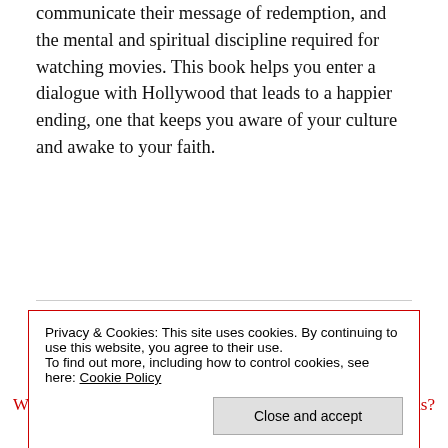communicate their message of redemption, and the mental and spiritual discipline required for watching movies. This book helps you enter a dialogue with Hollywood that leads to a happier ending, one that keeps you aware of your culture and awake to your faith.
Redeeming Pop Culture by T. M. Moore
Why is it important for us not to ignore the culture around us?
Privacy & Cookies: This site uses cookies. By continuing to use this website, you agree to their use.
To find out more, including how to control cookies, see here: Cookie Policy
immerse ourselves in it blindly.